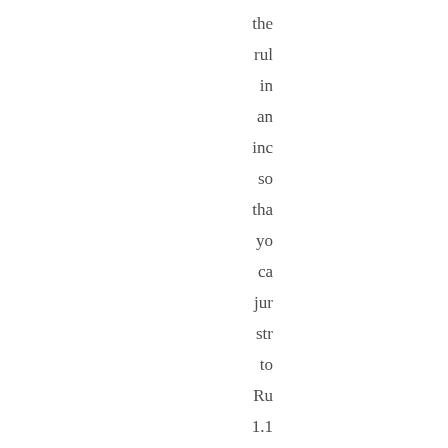the
rul
in
an
inc
so
tha
yo
ca
jur
str
to
Ru
1.1
Th
oth
bo
of
law